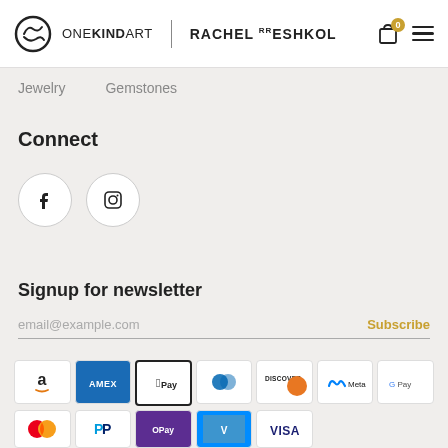ONEKINDART | RACHEL ESHKOL — Cart: 0
Jewelry   Gemstones
Connect
[Figure (illustration): Social media icons: Facebook and Instagram circles]
Signup for newsletter
email@example.com   Subscribe
[Figure (illustration): Payment method icons: Amazon, Amex, Apple Pay, Diners Club, Discover, Meta Pay, Google Pay, Mastercard, PayPal, O Pay, Venmo, Visa]